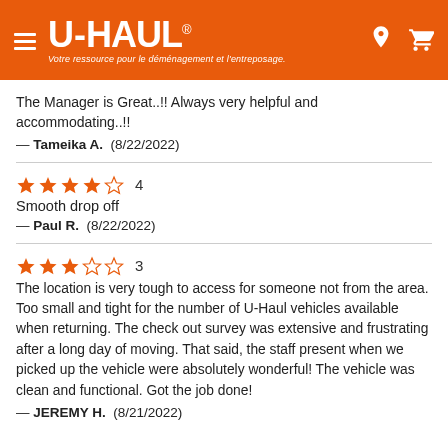[Figure (logo): U-HAUL logo with orange header bar, hamburger menu icon, location pin icon, and shopping cart icon. Subtitle reads: Votre ressource pour le déménagement et l'entreposage.]
The Manager is Great..!! Always very helpful and accommodating..!!
— Tameika A.  (8/22/2022)
4 stars — Smooth drop off — Paul R.  (8/22/2022)
3 stars — The location is very tough to access for someone not from the area. Too small and tight for the number of U-Haul vehicles available when returning. The check out survey was extensive and frustrating after a long day of moving. That said, the staff present when we picked up the vehicle were absolutely wonderful! The vehicle was clean and functional. Got the job done! — JEREMY H.  (8/21/2022)